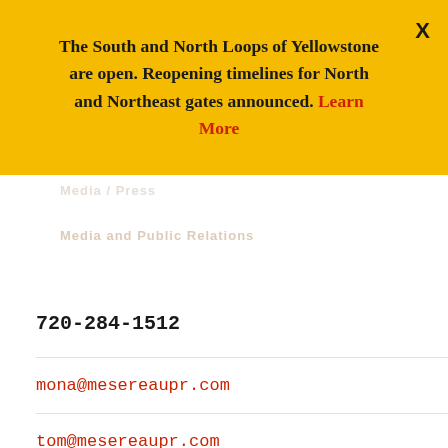The South and North Loops of Yellowstone are open. Reopening timelines for North and Northeast gates announced. Learn More
[Figure (logo): Cody Yellowstone Wyoming logo in white script on dark brown background]
74°F
REQUEST INFO
MENU
720-284-1512
mona@mesereaupr.com
tom@mesereaupr.com